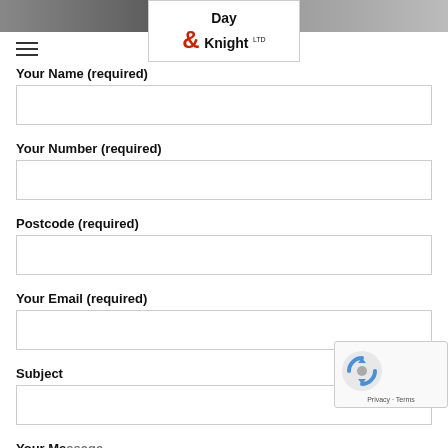[Figure (logo): Day & Knight Ltd logo in a white box against a dark banner background with hamburger menu icon]
Your Name (required)
Your Number (required)
Postcode (required)
Your Email (required)
Subject
Your Message